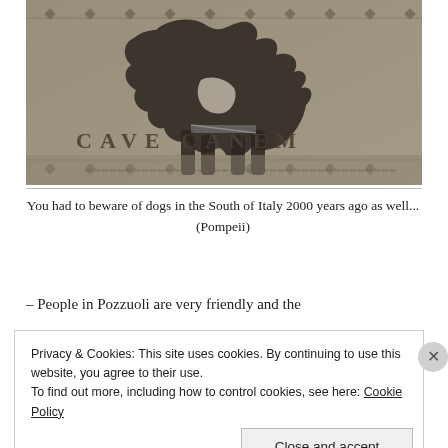[Figure (photo): Ancient Roman mosaic from Pompeii showing a dog with the Latin inscription 'CAVE CANEM' (Beware of the Dog). Black and white/sepia photograph of the mosaic tile artwork.]
You had to beware of dogs in the South of Italy 2000 years ago as well... (Pompeii)
– People in Pozzuoli are very friendly and the
Privacy & Cookies: This site uses cookies. By continuing to use this website, you agree to their use. To find out more, including how to control cookies, see here: Cookie Policy